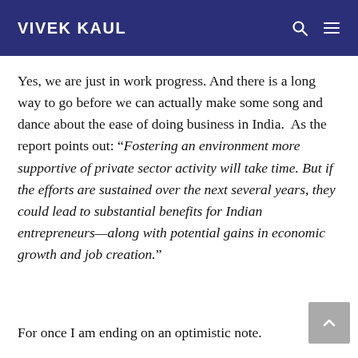VIVEK KAUL
Yes, we are just in work progress. And there is a long way to go before we can actually make some song and dance about the ease of doing business in India.  As the report points out: “Fostering an environment more supportive of private sector activity will take time. But if the efforts are sustained over the next several years, they could lead to substantial benefits for Indian entrepreneurs—along with potential gains in economic growth and job creation.”
For once I am ending on an optimistic note.